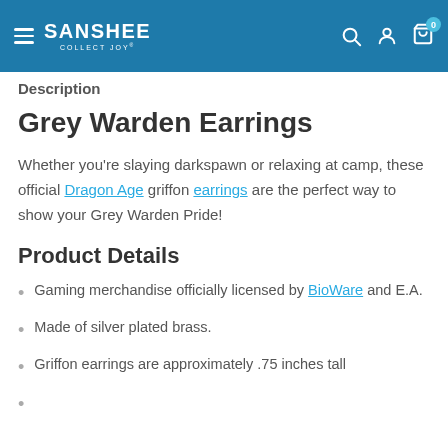SANSHEE COLLECT JOY
Description
Grey Warden Earrings
Whether you're slaying darkspawn or relaxing at camp, these official Dragon Age griffon earrings are the perfect way to show your Grey Warden Pride!
Product Details
Gaming merchandise officially licensed by BioWare and E.A.
Made of silver plated brass.
Griffon earrings are approximately .75 inches tall